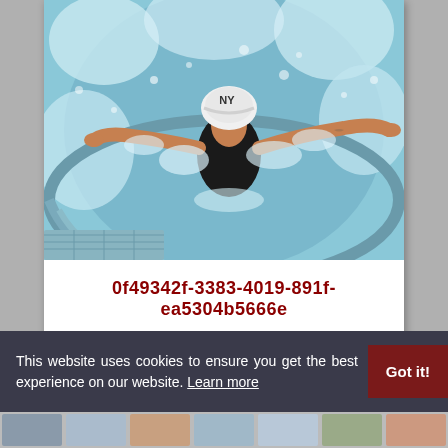[Figure (photo): Aerial/overhead view of a woman in a hot tub or jacuzzi, wearing a black swimsuit and white NY Yankees cap, arms outstretched in the bubbling water]
0f49342f-3383-4019-891f-ea5304b5666e
I like self-confident men, guys with ambitions and goals who are looking for a solution to a problem and not a way to avoid it, growth is not important to me, the main thing is that a person has in his soul and in his mind, if you are a real gentleman who knows how to make a nice
This website uses cookies to ensure you get the best experience on our website. Learn more